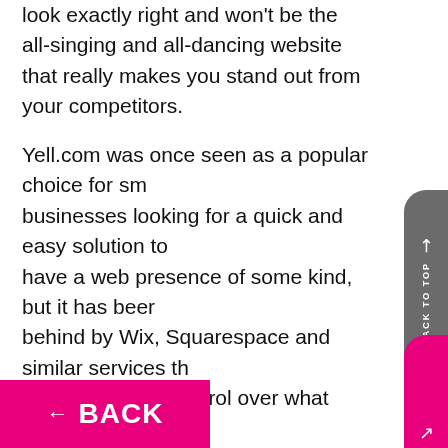look exactly right and won't be the all-singing and all-dancing website that really makes you stand out from your competitors.
Yell.com was once seen as a popular choice for small businesses looking for a quick and easy solution to have a web presence of some kind, but it has been left behind by Wix, Squarespace and similar services that offer a bit more control over what you can do with your business website. They are still templates, so ideal for most businesses, but there is a lot more flexibility and versatility within the designs on offer as a base for your brand. Overall though, you are better thinking about the bigger picture and getting more back, especially when it comes to SEO and your visibility online. This is where a professional web agency will make all the difference to your digital